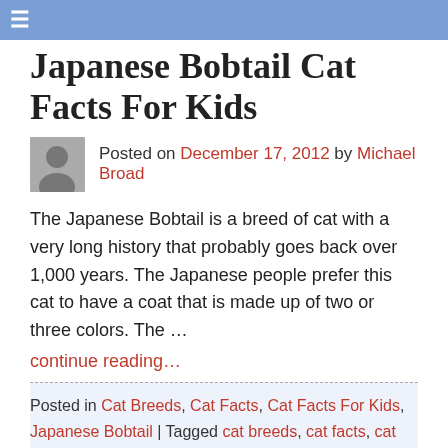☰
Japanese Bobtail Cat Facts For Kids
Posted on December 17, 2012 by Michael Broad
The Japanese Bobtail is a breed of cat with a very long history that probably goes back over 1,000 years. The Japanese people prefer this cat to have a coat that is made up of two or three colors. The …
continue reading…
Posted in Cat Breeds, Cat Facts, Cat Facts For Kids, Japanese Bobtail | Tagged cat breeds, cat facts, cat facts for kids, japanese bobtail, pictures of cat breeds | 4 Replies
Japanese Bobtail